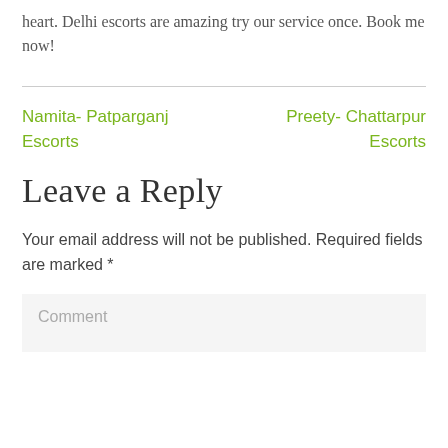heart. Delhi escorts are amazing try our service once. Book me now!
Namita- Patparganj Escorts
Preety- Chattarpur Escorts
Leave a Reply
Your email address will not be published. Required fields are marked *
Comment